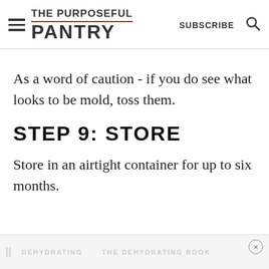THE PURPOSEFUL PANTRY | SUBSCRIBE
As a word of caution - if you do see what looks to be mold, toss them.
STEP 9: STORE
Store in an airtight container for up to six months.